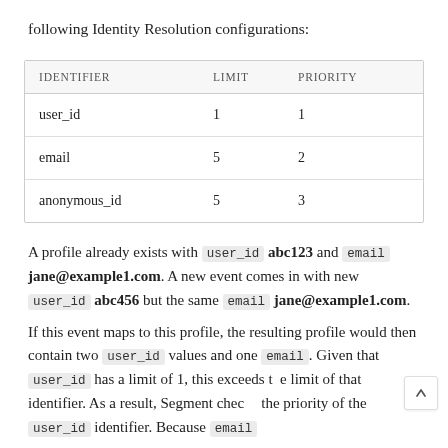following Identity Resolution configurations:
| IDENTIFIER | LIMIT | PRIORITY |
| --- | --- | --- |
| user_id | 1 | 1 |
| email | 5 | 2 |
| anonymous_id | 5 | 3 |
A profile already exists with user_id abc123 and email jane@example1.com. A new event comes in with new user_id abc456 but the same email jane@example1.com.
If this event maps to this profile, the resulting profile would then contain two user_id values and one email. Given that user_id has a limit of 1, this exceeds the limit of that identifier. As a result, Segment checks the priority of the user_id identifier. Because email